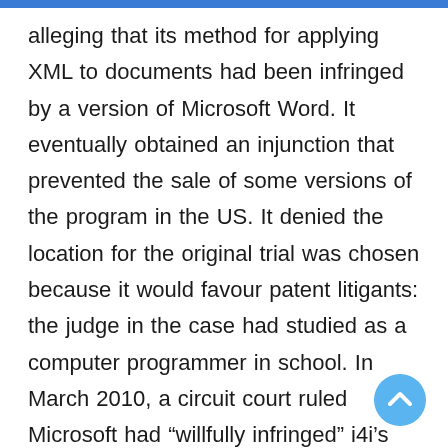alleging that its method for applying XML to documents had been infringed by a version of Microsoft Word. It eventually obtained an injunction that prevented the sale of some versions of the program in the US. It denied the location for the original trial was chosen because it would favour patent litigants: the judge in the case had studied as a computer programmer in school. In March 2010, a circuit court ruled Microsoft had “willfully infringed” i4i’s patent. In July, the validity of the patent was confirmed by the US Patent Office. The two companies had held discussions in 2000 and 2001 about XML and custom XML but no business